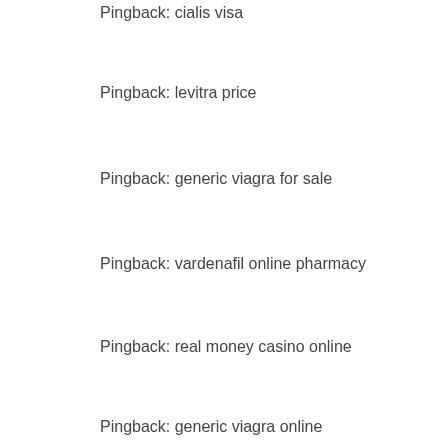Pingback: cialis visa
Pingback: levitra price
Pingback: generic viagra for sale
Pingback: vardenafil online pharmacy
Pingback: real money casino online
Pingback: generic viagra online